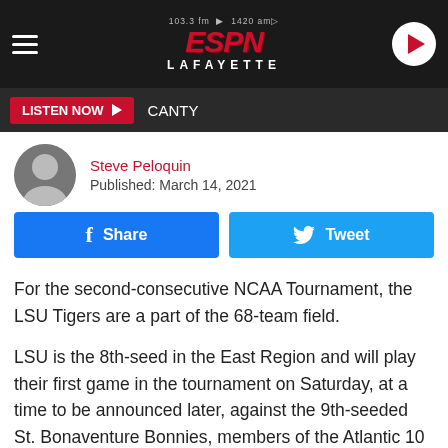103.3 fm 1420 am ESPN Lafayette
LISTEN NOW CANTY
Steve Peloquin
Published: March 14, 2021
[Figure (infographic): Facebook Share button and Twitter Tweet button side by side]
For the second-consecutive NCAA Tournament, the LSU Tigers are a part of the 68-team field.
LSU is the 8th-seed in the East Region and will play their first game in the tournament on Saturday, at a time to be announced later, against the 9th-seeded St. Bonaventure Bonnies, members of the Atlantic 10 Conference.